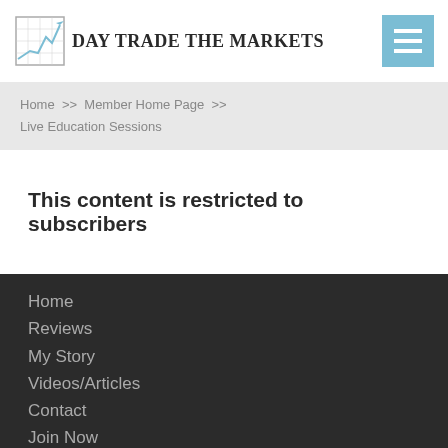Day Trade The Markets
Home >> Member Home Page >> Live Education Sessions
This content is restricted to subscribers
Home
Reviews
My Story
Videos/Articles
Contact
Join Now
Login